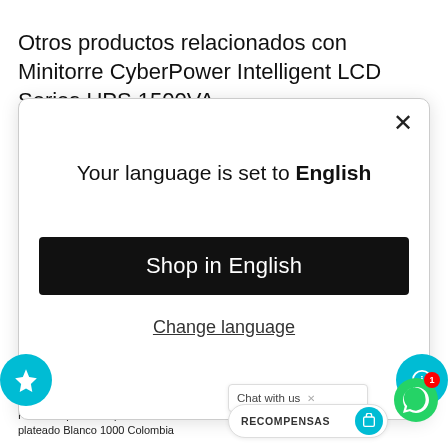Otros productos relacionados con Minitorre CyberPower Intelligent LCD Series UPS 1500VA
[Figure (screenshot): Modal dialog with text 'Your language is set to English', a 'Shop in English' button, and a 'Change language' link. Has a close X button in the top right.]
Your language is set to English
Shop in English
Change language
AJM PACKAGING CORPORATION
Plexware platos de plástico con borde plateado Blanco 1000 Colombia
JFC INTERNATIONAL INC
Chat with us
RECOMPENSAS